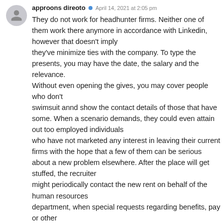approons direoto · April 14, 2021 at 2:05 pm
They do not work for headhunter firms. Neither one of them work there anymore in accordance with Linkedin, however that doesn't imply they've minimize ties with the company. To type the presents, you may have the date, the salary and the relevance. Without even opening the gives, you may cover people who don't swimsuit annd show the contact details of those that have some. When a scenario demands, they could even attain out too employed individuals who have not marketed any interest in leaving their current firms with the hope that a few of them can be serious about a new problem elsewhere. After the place will get stuffed, the recruiter might periodically contact the new rent on behalf of the human resources department, when special requests regarding benefits, pay or other